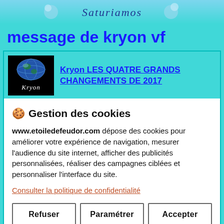[Figure (screenshot): Website header banner with stylized script text 'Saturianos' on a blue gradient background with decorative elements]
message de kryon vf
[Figure (screenshot): Video thumbnail showing a dark background with a globe image and the text 'Kryon' in stylized white italic font]
Kryon LES QUATRE GRANDS CHANGEMENTS DE 2017
🍪 Gestion des cookies
www.etoiledefeudor.com dépose des cookies pour améliorer votre expérience de navigation, mesurer l'audience du site internet, afficher des publicités personnalisées, réaliser des campagnes ciblées et personnaliser l'interface du site.
Consulter la politique de confidentialité
Refuser
Paramétrer
Accepter
[Figure (screenshot): Small video thumbnail at bottom showing dark background with stylized 'Kryon' text in white italic font]